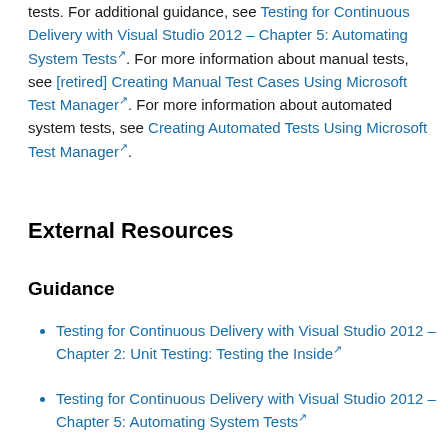tests. For additional guidance, see Testing for Continuous Delivery with Visual Studio 2012 – Chapter 5: Automating System Tests. For more information about manual tests, see [retired] Creating Manual Test Cases Using Microsoft Test Manager. For more information about automated system tests, see Creating Automated Tests Using Microsoft Test Manager.
External Resources
Guidance
Testing for Continuous Delivery with Visual Studio 2012 – Chapter 2: Unit Testing: Testing the Inside
Testing for Continuous Delivery with Visual Studio 2012 – Chapter 5: Automating System Tests